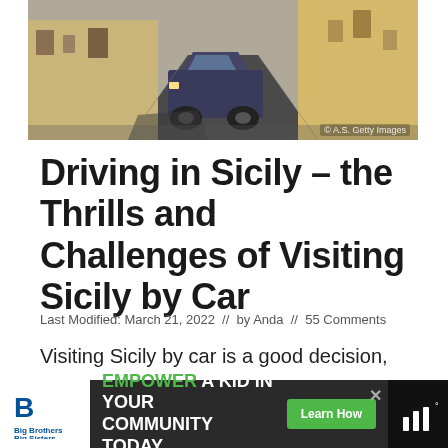[Figure (photo): Narrow Sicilian street with a parked car, stone-paved road, yellow building facades on both sides]
Driving in Sicily – the Thrills and Challenges of Visiting Sicily by Car
Last Modified: March 21, 2022 // by Anda // 55 Comments
Visiting Sicily by car is a good decision, but not one to be taken lightly. I am a huge advocate for self-drive vacations and after
[Figure (infographic): Advertisement banner: Big Brothers Big Sisters logo on left, green text EMPOWER A KID IN YOUR COMMUNITY TODAY with Learn How button, weather widget on right]